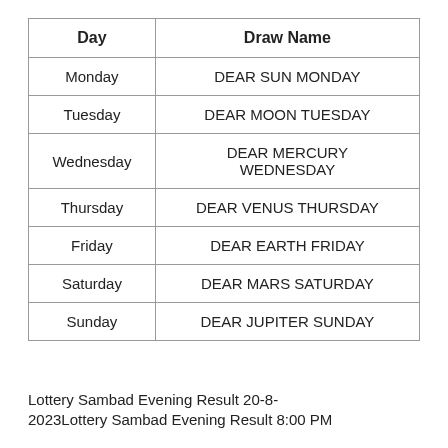| Day | Draw Name |
| --- | --- |
| Monday | DEAR SUN MONDAY |
| Tuesday | DEAR MOON TUESDAY |
| Wednesday | DEAR MERCURY WEDNESDAY |
| Thursday | DEAR VENUS THURSDAY |
| Friday | DEAR EARTH FRIDAY |
| Saturday | DEAR MARS SATURDAY |
| Sunday | DEAR JUPITER SUNDAY |
Lottery Sambad Evening Result 20-8-2023Lottery Sambad Evening Result 8:00 PM